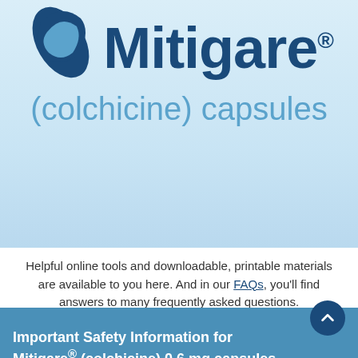[Figure (logo): Mitigare (colchicine) capsules logo with blue pill capsule icon and brand name in dark blue, generic name in light blue]
Helpful online tools and downloadable, printable materials are available to you here. And in our FAQs, you'll find answers to many frequently asked questions.
Important Safety Information for Mitigare® (colchicine) 0.6 mg capsules
Colchicine 0.6 mg capsules are contraindicated in patients with renal or hepatic impairment who are currently prescribed drugs